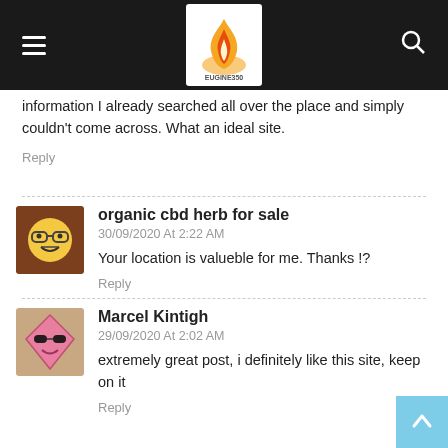[Figure (screenshot): Website navigation bar with hamburger menu, Eugine350 flame logo centered, and search icon on right, dark background]
information I already searched all over the place and simply couldn't come across. What an ideal site.
Reply
organic cbd herb for sale
30/09/2020 At 2:22 AM
Your location is valueble for me. Thanks !?
Reply
Marcel Kintigh
29/09/2020 At 2:02 AM
extremely great post, i definitely like this site, keep on it
Reply